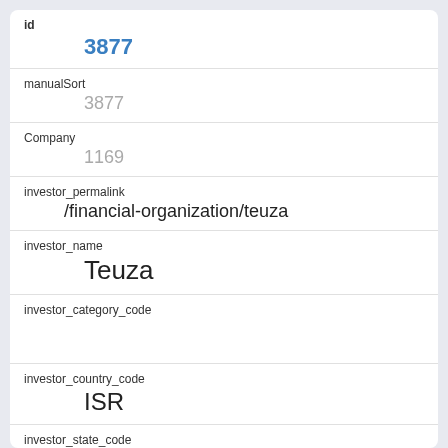| Field | Value |
| --- | --- |
| id | 3877 |
| manualSort | 3877 |
| Company | 1169 |
| investor_permalink | /financial-organization/teuza |
| investor_name | Teuza |
| investor_category_code |  |
| investor_country_code | ISR |
| investor_state_code |  |
| investor_region | Haifa |
| investor_city | Haifa |